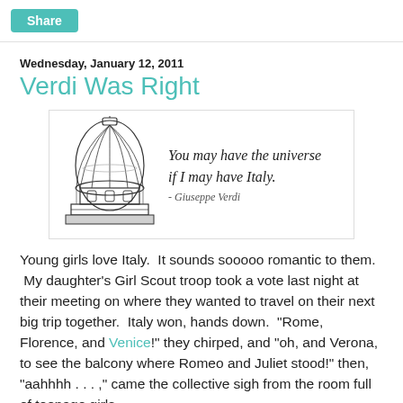Share
Wednesday, January 12, 2011
Verdi Was Right
[Figure (illustration): Image with a black-and-white illustration of a dome (Florence's Duomo) on the left, and a cursive quote on the right: 'You may have the universe if I may have Italy. - Giuseppe Verdi']
Young girls love Italy.  It sounds sooooo romantic to them.  My daughter's Girl Scout troop took a vote last night at their meeting on where they wanted to travel on their next big trip together.  Italy won, hands down.  "Rome, Florence, and Venice!" they chirped, and "oh, and Verona, to see the balcony where Romeo and Juliet stood!" then, "aahhhh . . . ," came the collective sigh from the room full of teenage girls.